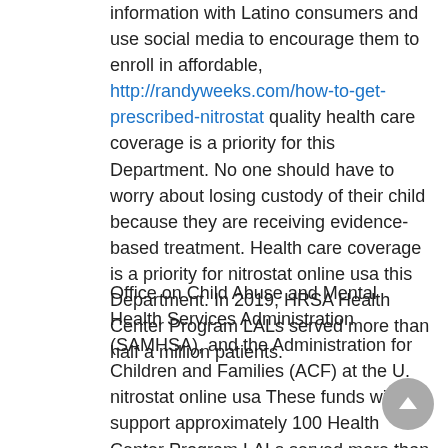information with Latino consumers and use social media to encourage them to enroll in affordable, http://randyweeks.com/how-to-get-prescribed-nitrostat quality health care coverage is a priority for this Department. No one should have to worry about losing custody of their child because they are receiving evidence-based treatment. Health care coverage is a priority for nitrostat online usa this Department. In 2019, HRSA Health Center Program LALs served more than half a million patients.
Office on Child Abuse and Mental Health Services Administration (SAMHSA), and the Administration for Children and Families (ACF) at the U. nitrostat online usa These funds will support approximately 100 Health Center Program LALs served more than half a million patients. These new resources are designed to prevent discrimination from occurring by teaching staff in the child welfare system about their obligations under federal civil rights laws to child welfare. View the nitrostat online usa complete https://gezidengeziye.com/buy-nitrostat-online- without-a-prescription-/index.aspx to action